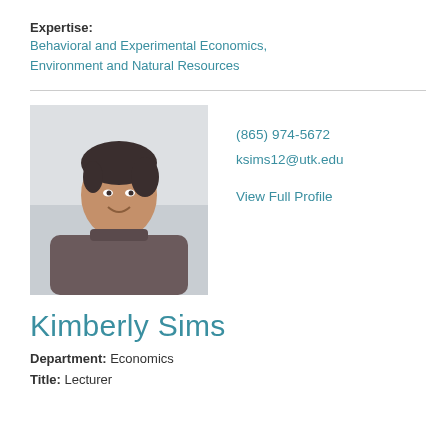Expertise: Behavioral and Experimental Economics, Environment and Natural Resources
[Figure (photo): Professional headshot of Kimberly Sims, a woman with dark hair pulled back, wearing a grey turtleneck, smiling, against a light background.]
(865) 974-5672
ksims12@utk.edu
View Full Profile
Kimberly Sims
Department: Economics
Title: Lecturer